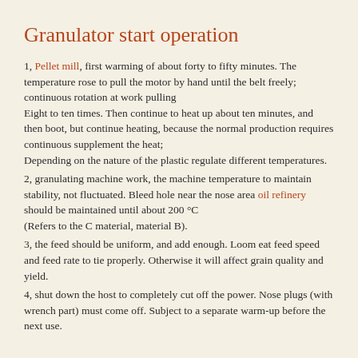Granulator start operation
1, Pellet mill, first warming of about forty to fifty minutes. The temperature rose to pull the motor by hand until the belt freely; continuous rotation at work pulling
Eight to ten times. Then continue to heat up about ten minutes, and then boot, but continue heating, because the normal production requires continuous supplement the heat;
Depending on the nature of the plastic regulate different temperatures.
2, granulating machine work, the machine temperature to maintain stability, not fluctuated. Bleed hole near the nose area oil refinery should be maintained until about 200 °C
(Refers to the C material, material B).
3, the feed should be uniform, and add enough. Loom eat feed speed and feed rate to tie properly. Otherwise it will affect grain quality and yield.
4, shut down the host to completely cut off the power. Nose plugs (with wrench part) must come off. Subject to a separate warm-up before the next use.